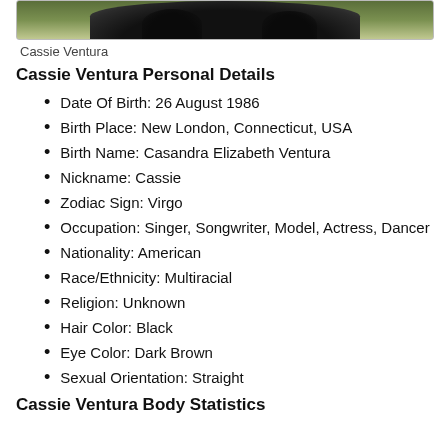[Figure (photo): Photo of Cassie Ventura, cropped to show top portion]
Cassie Ventura
Cassie Ventura Personal Details
Date Of Birth: 26 August 1986
Birth Place: New London, Connecticut, USA
Birth Name: Casandra Elizabeth Ventura
Nickname: Cassie
Zodiac Sign: Virgo
Occupation: Singer, Songwriter, Model, Actress, Dancer
Nationality: American
Race/Ethnicity: Multiracial
Religion: Unknown
Hair Color: Black
Eye Color: Dark Brown
Sexual Orientation: Straight
Cassie Ventura Body Statistics